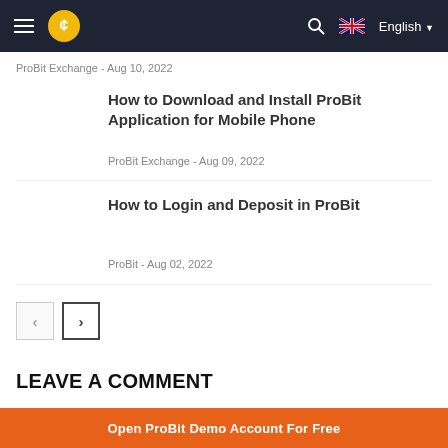ProBit Exchange navigation bar with logo, search, and English language selector
ProBit Exchange - Aug 10, 2022
How to Download and Install ProBit Application for Mobile Phone
ProBit Exchange - Aug 09, 2022
How to Login and Deposit in ProBit
ProBit - Aug 02, 2022
LEAVE A COMMENT
Open ProBit Demo Account For Free